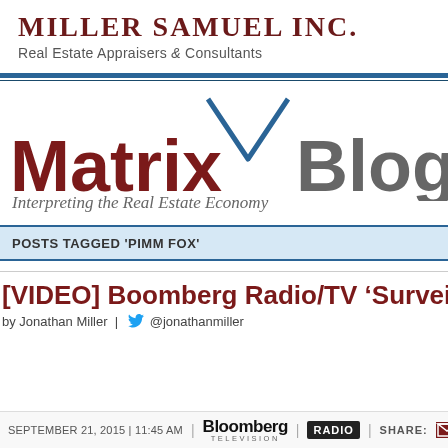Miller Samuel Inc. Real Estate Appraisers & Consultants
[Figure (logo): Matrix Blog logo with blue triangle icon above the text, tagline: Interpreting the Real Estate Economy]
POSTS TAGGED 'PIMM FOX'
[VIDEO] Boomberg Radio/TV 'Surveilla
by Jonathan Miller | @jonathanmiller
SEPTEMBER 21, 2015 | 11:45 AM | Bloomberg Television | RADIO | SHARE: